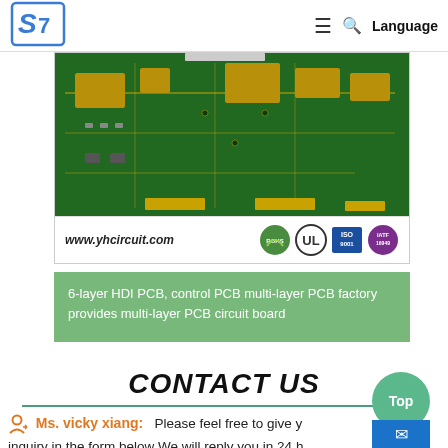[Figure (screenshot): Website navigation bar with ST Microelectronics logo, hamburger menu, search icon, and Language button]
[Figure (photo): Green multi-layer HDI PCB circuit board product photo with certification logos (ROHS, UL, ISO, TS 16949) and website www.yhcircuit.com]
6-layer HDI PCB, control PCB multi-layer PCB factory provides multi-layer PCB circuit board
CONTACT US
Ms. vicky xiang:  Please feel free to give y inquiry in the form below We will reply you in 24 h